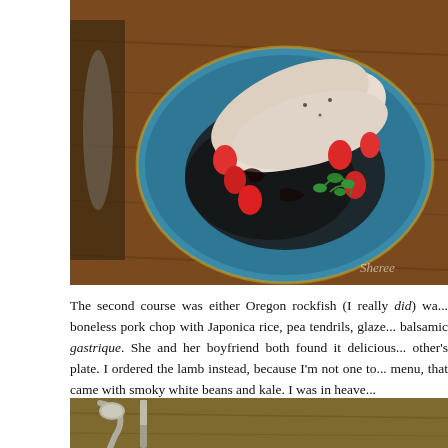[Figure (photo): Overhead view of a blue ceramic plate with sliced pork, dark Japonica rice, strawberries, and green pea tendrils, served on a wooden table.]
The second course was either Oregon rockfish (I really did) wa... boneless pork chop with Japonica rice, pea tendrils, glaze... balsamic gastrique. She and her boyfriend both found it delicious... other's plate. I ordered the lamb instead, because I'm not one to... menu, that came with smoky white beans and kale. I was in heave...
[Figure (photo): Close-up of cutlery (spoon and knife) resting on a wooden table, partially cropped.]